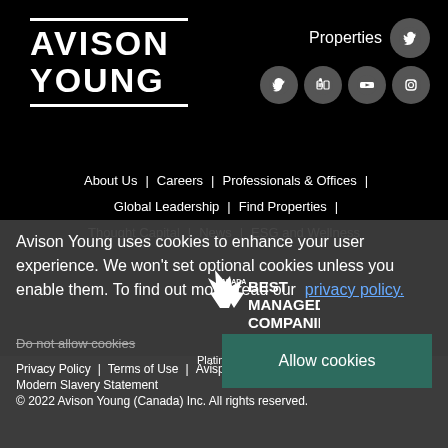[Figure (logo): Avison Young logo — white text on black background with horizontal lines above and below]
[Figure (infographic): Social media icons: Properties label with Twitter icon, then row of Twitter, LinkedIn, YouTube, Instagram circle icons]
About Us | Careers | Professionals & Offices | Global Leadership | Find Properties | Thought Capital | News | ESG and Wellness
Avison Young uses cookies to enhance your user experience. We won't set optional cookies unless you enable them. To find out more, read our privacy policy.
[Figure (logo): Canada Best Managed Companies Platinum member badge]
Do not allow cookies
Allow cookies
Privacy Policy | Terms of Use | Avisphere
Modern Slavery Statement
© 2022 Avison Young (Canada) Inc. All rights reserved.